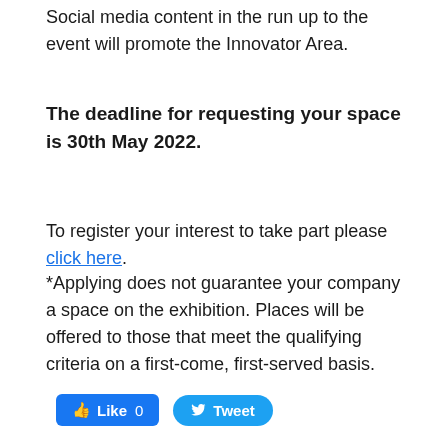Social media content in the run up to the event will promote the Innovator Area.
The deadline for requesting your space is 30th May 2022.
To register your interest to take part please click here.
*Applying does not guarantee your company a space on the exhibition. Places will be offered to those that meet the qualifying criteria on a first-come, first-served basis.
[Figure (screenshot): Social media buttons: Facebook Like (0) and Twitter Tweet]
Map
[Figure (map): Google Map embed showing Map and Satellite toggle buttons, partially visible map with street labels]